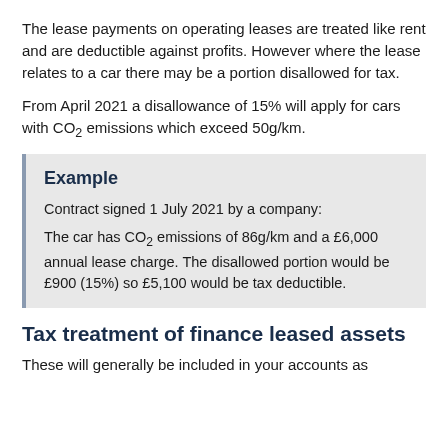The lease payments on operating leases are treated like rent and are deductible against profits. However where the lease relates to a car there may be a portion disallowed for tax.
From April 2021 a disallowance of 15% will apply for cars with CO2 emissions which exceed 50g/km.
Example
Contract signed 1 July 2021 by a company:
The car has CO2 emissions of 86g/km and a £6,000 annual lease charge. The disallowed portion would be £900 (15%) so £5,100 would be tax deductible.
Tax treatment of finance leased assets
These will generally be included in your accounts as